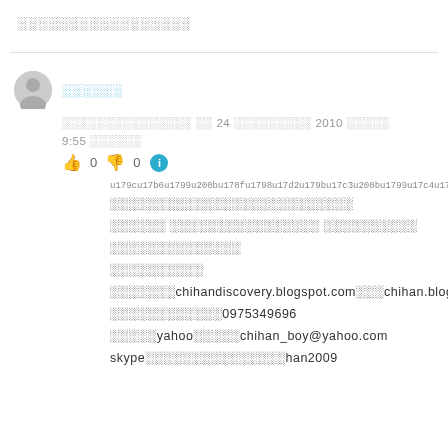░░░░░░░░░░░░░░░░░
░░░░░░ (username link)
░░░░░░░░░░░░░░░ ░░ 24 ░░░░░░░░░ 2010 ░░░░░ 9:55 ░░░░░░
👍 0 👎 0 ℹ
u179cu17b6u1799u200bu178fu1798u17d2u179bu17c3u200bu1799u17c4u1794u1...
░░░░░░░░░░░░░░░░░░░░░░░░░░
░░░░░░ ░░░░░░░░░░░░░░░░ ░░░░░░░░░░
░░░░░░░░░░░░░░
░░░░░░░░░░
░░░░░░░chihandiscovery.blogspot.com░░░chihan.blog.co
░░░░░░░░░░░░0975349696
░░░░░yahoo░░░░░chihan_boy@yahoo.com
skype░░░░░░░░░░░░░░░han2009